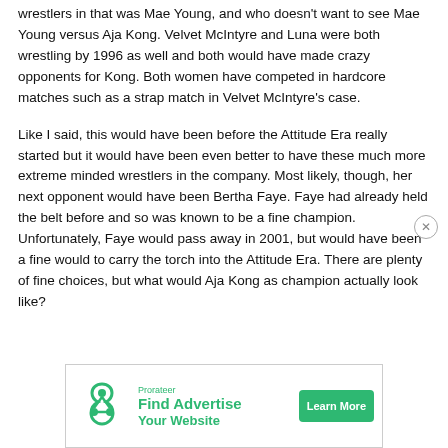wrestlers in that was Mae Young, and who doesn't want to see Mae Young versus Aja Kong. Velvet McIntyre and Luna were both wrestling by 1996 as well and both would have made crazy opponents for Kong. Both women have competed in hardcore matches such as a strap match in Velvet McIntyre's case.
Like I said, this would have been before the Attitude Era really started but it would have been even better to have these much more extreme minded wrestlers in the company. Most likely, though, her next opponent would have been Bertha Faye. Faye had already held the belt before and so was known to be a fine champion. Unfortunately, Faye would pass away in 2001, but would have been a fine would to carry the torch into the Attitude Era. There are plenty of fine choices, but what would Aja Kong as champion actually look like?
[Figure (other): Advertisement banner for Prorateer: Find Advertise Your Website with Learn More button and green trefoil logo]